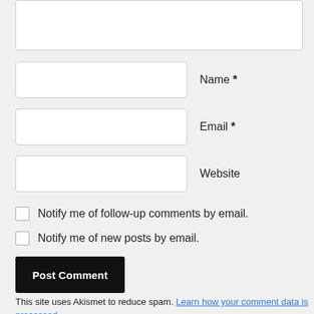[Figure (screenshot): Partial top of a text area input box (comment field), cut off at top of page]
Name *
Email *
Website
Notify me of follow-up comments by email.
Notify me of new posts by email.
Post Comment
This site uses Akismet to reduce spam. Learn how your comment data is processed.